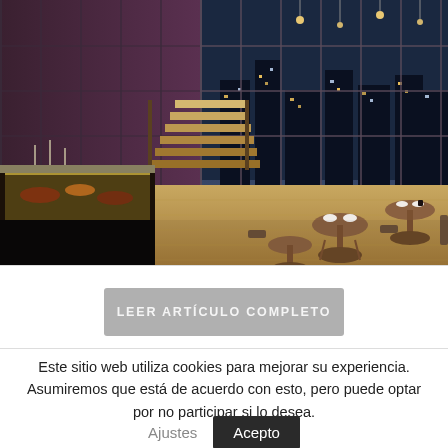[Figure (photo): Interior of a modern restaurant with large floor-to-ceiling glass windows showing a city at dusk, wooden flooring, dining tables with gold/copper accents, a food display counter on the left, and a staircase in the center background. The ambiance is lit with warm lighting inside contrasted with blue evening sky outside.]
LEER ARTÍCULO COMPLETO
Este sitio web utiliza cookies para mejorar su experiencia. Asumiremos que está de acuerdo con esto, pero puede optar por no participar si lo desea.
Ajustes
Acepto